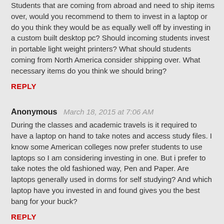Students that are coming from abroad and need to ship items over, would you recommend to them to invest in a laptop or do you think they would be as equally well off by investing in a custom built desktop pc? Should incoming students invest in portable light weight printers? What should students coming from North America consider shipping over. What necessary items do you think we should bring?
REPLY
Anonymous   March 18, 2015 at 7:06 AM
During the classes and academic travels is it required to have a laptop on hand to take notes and access study files. I know some American colleges now prefer students to use laptops so I am considering investing in one. But i prefer to take notes the old fashioned way, Pen and Paper. Are laptops generally used in dorms for self studying? And which laptop have you invested in and found gives you the best bang for your buck?
REPLY